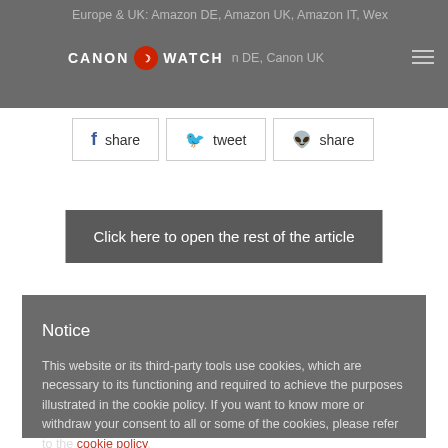Europe & UK: Amazon DE, Amazon UK, Amazon IT, Wex
[Figure (logo): Canon Watch logo with red circle icon]
n DE, Canon UK
[Figure (infographic): Social share buttons: Facebook share, Twitter tweet, Reddit share]
Click here to open the rest of the article
Notice
This website or its third-party tools use cookies, which are necessary to its functioning and required to achieve the purposes illustrated in the cookie policy. If you want to know more or withdraw your consent to all or some of the cookies, please refer to the cookie policy. By closing this banner you agree to the use of cookies.
keep disabled
ENABLE